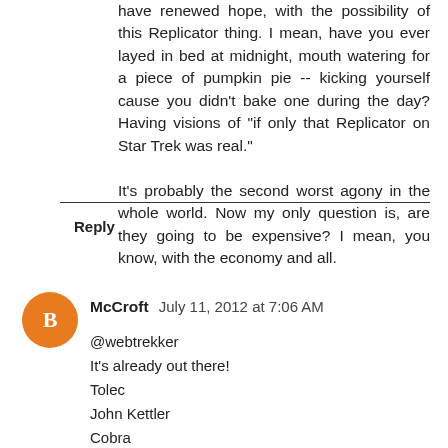have renewed hope, with the possibility of this Replicator thing. I mean, have you ever layed in bed at midnight, mouth watering for a piece of pumpkin pie -- kicking yourself cause you didn't bake one during the day? Having visions of "if only that Replicator on Star Trek was real."

It's probably the second worst agony in the whole world. Now my only question is, are they going to be expensive? I mean, you know, with the economy and all.
Reply
McCroft  July 11, 2012 at 7:06 AM
@webtrekker
It's already out there!
Tolec
John Kettler
Cobra
Drake